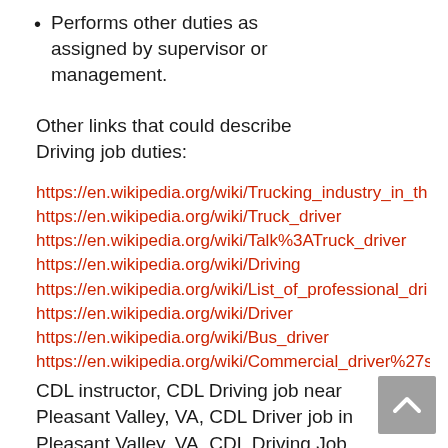Performs other duties as assigned by supervisor or management.
Other links that could describe Driving job duties:
https://en.wikipedia.org/wiki/Trucking_industry_in_th
https://en.wikipedia.org/wiki/Truck_driver
https://en.wikipedia.org/wiki/Talk%3ATruck_driver
https://en.wikipedia.org/wiki/Driving
https://en.wikipedia.org/wiki/List_of_professional_dri
https://en.wikipedia.org/wiki/Driver
https://en.wikipedia.org/wiki/Bus_driver
https://en.wikipedia.org/wiki/Commercial_driver%27s_
CDL instructor, CDL Driving job near Pleasant Valley, VA, CDL Driver job in Pleasant Valley, VA, CDL Driving Job, Driver Job, Driving job near me, Driver